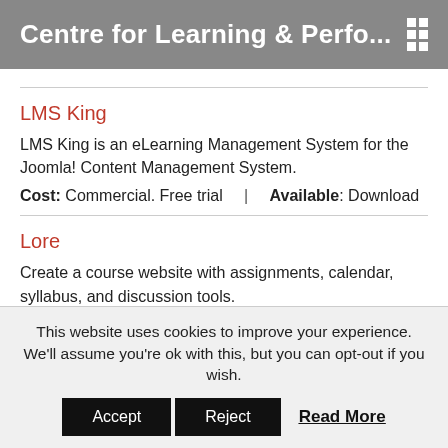Centre for Learning & Perfo...
LMS King
LMS King is an eLearning Management System for the Joomla! Content Management System.
Cost: Commercial. Free trial  |  Available: Download
Lore
Create a course website with assignments, calendar, syllabus, and discussion tools.
Cost: Free  |  Available: Hosted
This website uses cookies to improve your experience. We'll assume you're ok with this, but you can opt-out if you wish.